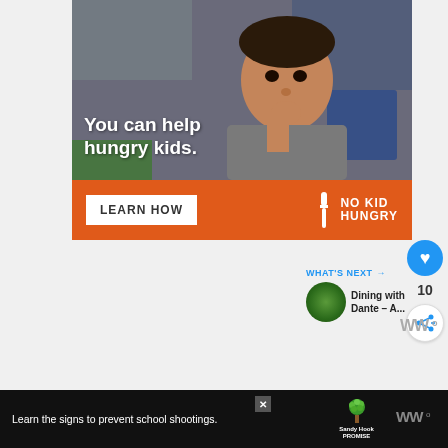[Figure (photo): Advertisement banner: photo of a young boy eating/touching his mouth in a classroom setting, with text overlay 'You can help hungry kids.' and an orange bottom bar with 'LEARN HOW' button and 'NO KID HUNGRY' logo]
[Figure (infographic): Right-side UI panel with a blue heart button, count '10', and a share button]
WHAT'S NEXT → Dining with Dante – A...
[Figure (logo): Wordmark logo (looks like 'WWo' or similar brand mark) in gray]
[Figure (photo): Bottom footer advertisement: 'Learn the signs to prevent school shootings.' with Sandy Hook Promise logo (green tree). Close X button. Wordmark logo on right.]